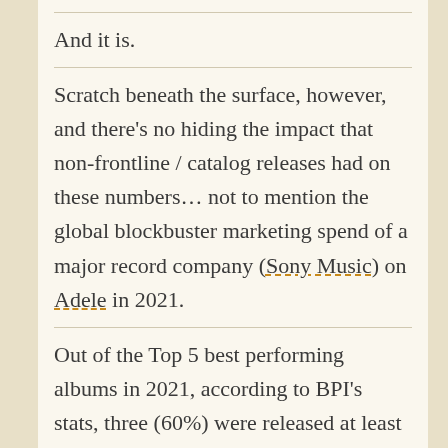And it is.
Scratch beneath the surface, however, and there's no hiding the impact that non-frontline / catalog releases had on these numbers… not to mention the global blockbuster marketing spend of a major record company (Sony Music) on Adele in 2021.
Out of the Top 5 best performing albums in 2021, according to BPI's stats, three (60%) were released at least six years ago.
The UK's No.1 independent album (in terms of sales plus streaming) in 2021 was AM, the 2013-released fifth album from British rock superstars Arctic Monkeys (Domino).